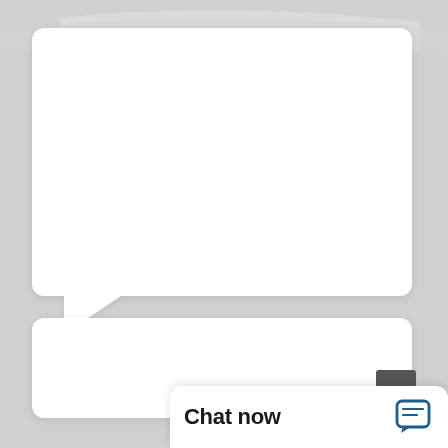[Figure (screenshot): Screenshot of a web chat interface showing two white rounded card panels on a gray background, with a 'Chat now' bar at the bottom right containing a chat icon, and a dark button above it.]
Chat now